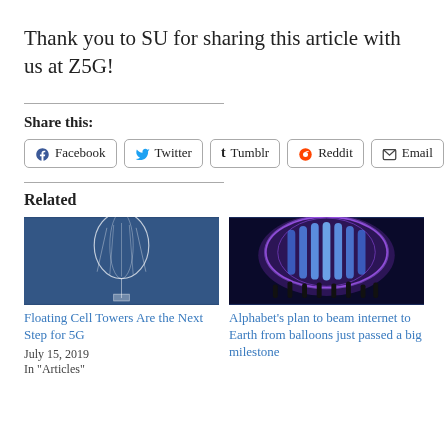Thank you to SU for sharing this article with us at Z5G!
Share this:
Facebook | Twitter | Tumblr | Reddit | Email
Related
[Figure (photo): A white balloon-like floating cell tower against a blue sky]
Floating Cell Towers Are the Next Step for 5G
July 15, 2019
In "Articles"
[Figure (photo): A large illuminated purple/blue balloon with people standing beneath it]
Alphabet’s plan to beam internet to Earth from balloons just passed a big milestone